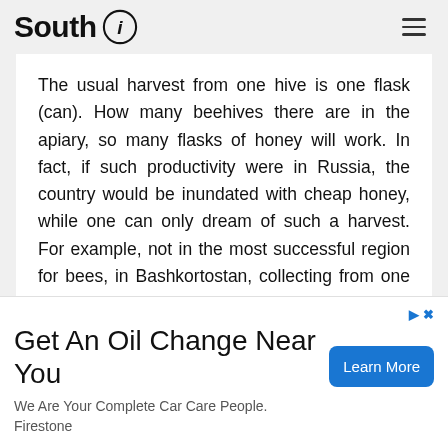South i
The usual harvest from one hive is one flask (can). How many beehives there are in the apiary, so many flasks of honey will work. In fact, if such productivity were in Russia, the country would be inundated with cheap honey, while one can only dream of such a harvest. For example, not in the most successful region for bees, in Bashkortostan, collecting from one family from 10 to 15 kg of honey is already considered successful. At the
[Figure (other): Advertisement banner: Get An Oil Change Near You. We Are Your Complete Car Care People. Firestone. Learn More button.]